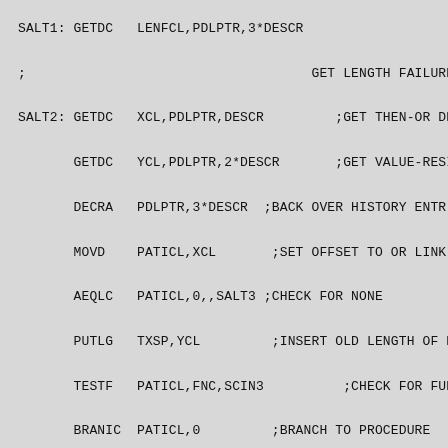SALT1: GETDC   LENFCL,PDLPTR,3*DESCR
;                                    GET LENGTH FAILURE F
SALT2: GETDC   XCL,PDLPTR,DESCR         ;GET THEN-OR DE
GETDC   YCL,PDLPTR,2*DESCR       ;GET VALUE-RESI
DECRA   PDLPTR,3*DESCR  ;BACK OVER HISTORY ENTR
MOVD    PATICL,XCL       ;SET OFFSET TO OR LINK
AEQLC   PATICL,0,,SALT3 ;CHECK FOR NONE
PUTLG   TXSP,YCL         ;INSERT OLD LENGTH OF H
TESTF   PATICL,FNC,SCIN3          ;CHECK FOR FUNC
BRANIC  PATICL,0         ;BRANCH TO PROCEDURE
;_
SALT3: AEQLC   LENFCL,0,SALT1  ;CHECK LENGTH FAILURE
BRANCH  SALF1    ;GO TO NONLENGTH FAILURE
;_
SCOK:  PROC    SCNR     ;SUCCESSFUL SCANNING PROCEDURE